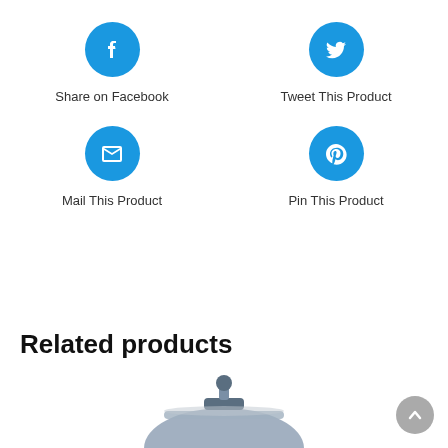[Figure (infographic): Four social share buttons arranged in a 2x2 grid: Facebook (f icon), Twitter (bird icon), Mail (envelope icon), Pinterest (p icon), each with a blue circle icon and label below]
Related products
[Figure (photo): Bottom portion of a helicopter or similar aircraft product image, partially visible at the bottom of the page]